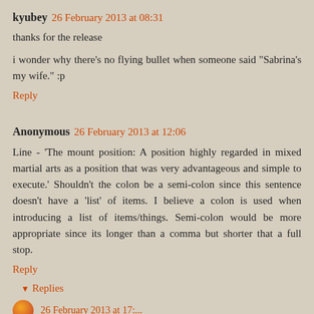kyubey 26 February 2013 at 08:31
thanks for the release
i wonder why there's no flying bullet when someone said "Sabrina's my wife." :p
Reply
Anonymous 26 February 2013 at 12:06
Line - 'The mount position: A position highly regarded in mixed martial arts as a position that was very advantageous and simple to execute.' Shouldn't the colon be a semi-colon since this sentence doesn't have a 'list' of items. I believe a colon is used when introducing a list of items/things. Semi-colon would be more appropriate since its longer than a comma but shorter that a full stop.
Reply
▾ Replies